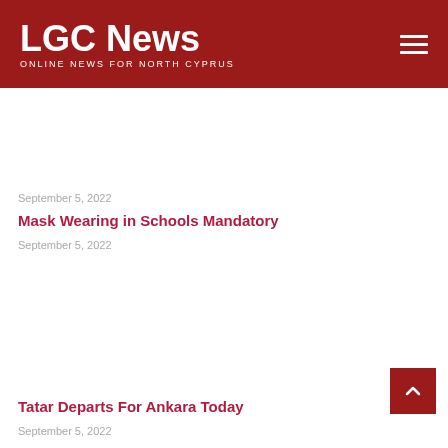LGC News — ONLINE NEWS FOR NORTH CYPRUS
September 5, 2022
Mask Wearing in Schools Mandatory
September 5, 2022
Tatar Departs For Ankara Today
September 5, 2022
Names of CTP Assembly Representatives Announced
September 5, 2022